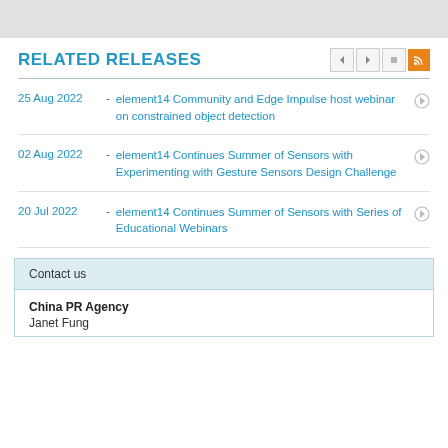RELATED RELEASES
25 Aug 2022 - element14 Community and Edge Impulse host webinar on constrained object detection
02 Aug 2022 - element14 Continues Summer of Sensors with Experimenting with Gesture Sensors Design Challenge
20 Jul 2022 - element14 Continues Summer of Sensors with Series of Educational Webinars
Contact us
China PR Agency
Janet Fung